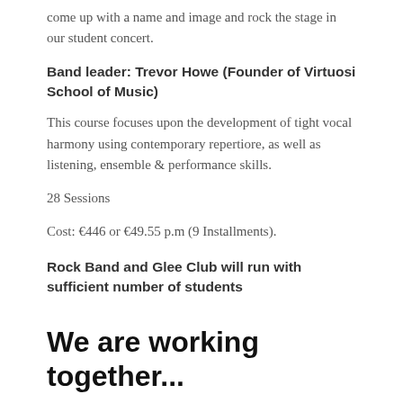come up with a name and image and rock the stage in our student concert.
Band leader: Trevor Howe (Founder of Virtuosi School of Music)
This course focuses upon the development of tight vocal harmony using contemporary repertiore, as well as listening, ensemble & performance skills.
28 Sessions
Cost: €446 or €49.55 p.m (9 Installments).
Rock Band and Glee Club will run with sufficient number of students
We are working together...